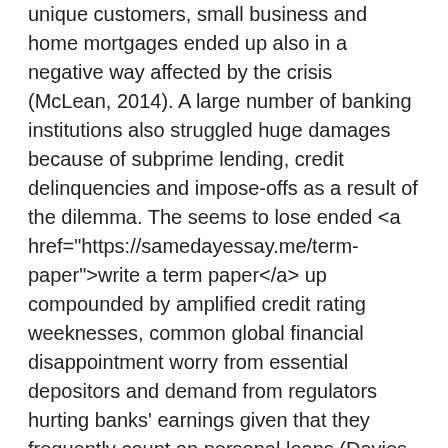unique customers, small business and home mortgages ended up also in a negative way affected by the crisis (McLean, 2014). A large number of banking institutions also struggled huge damages because of subprime lending, credit delinquencies and impose-offs as a result of the dilemma. The seems to lose ended <a href="https://samedayessay.me/term-paper">write a term paper</a> up compounded by amplified credit rating weeknesses, common global financial disappointment worry from essential depositors and demand from regulators hurting banks' earnings given that they frequently count on personal loans (Davies, 2011). Banks also had to adjustment credit rating review habits, underwriting coverages and firm up their credit ratings guidelines. The more focus on probability treatment prompted by your turmoil contributed to the loss of organization for banks that predominantly rely upon financing